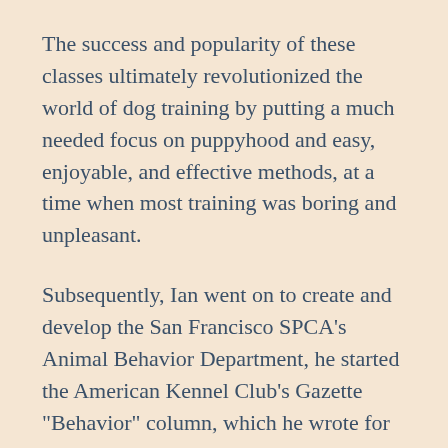The success and popularity of these classes ultimately revolutionized the world of dog training by putting a much needed focus on puppyhood and easy, enjoyable, and effective methods, at a time when most training was boring and unpleasant.
Subsequently, Ian went on to create and develop the San Francisco SPCA's Animal Behavior Department, he started the American Kennel Club's Gazette "Behavior" column, which he wrote for seven years, and he designed and organized the K9 GAMES®.
In 1993, he founded the Association of Professional Dog Trainers. With over 5000 members in 48 countries, the APDT has grown to be the world's largest association of dog trainers.